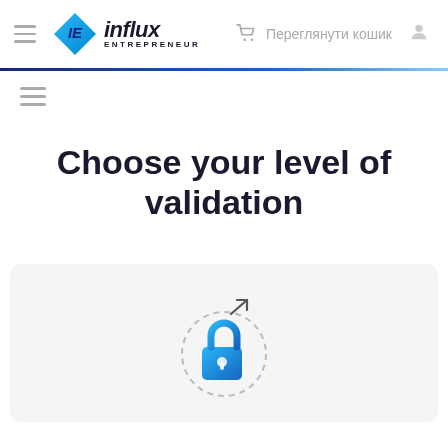[Figure (logo): Influx Entrepreneur logo with teal/blue diamond IE icon and italic bold influx text with ENTREPRENEUR below]
Переглянути кошик
Choose your level of validation
[Figure (illustration): Blue padlock icon with an arrow pointing up-right, surrounded by a dashed circle, on a light gray card background]